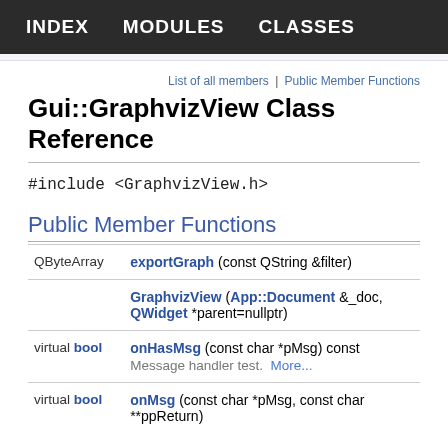INDEX   MODULES   CLASSES
List of all members | Public Member Functions
Gui::GraphvizView Class Reference
#include <GraphvizView.h>
Public Member Functions
| Return | Function |
| --- | --- |
| QByteArray | exportGraph (const QString &filter) |
|  | GraphvizView (App::Document &_doc, QWidget *parent=nullptr) |
| virtual bool | onHasMsg (const char *pMsg) const
Message handler test. More... |
| virtual bool | onMsg (const char *pMsg, const char **ppReturn) |